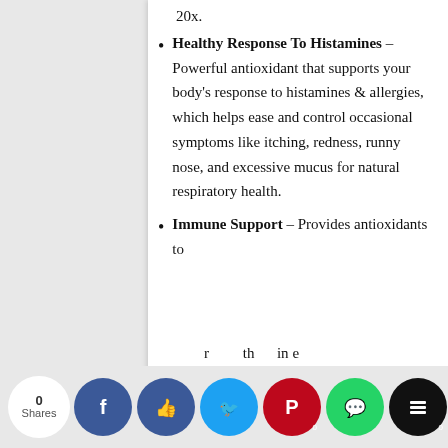20x.
Healthy Response To Histamines – Powerful antioxidant that supports your body's response to histamines & allergies, which helps ease and control occasional symptoms like itching, redness, runny nose, and excessive mucus for natural respiratory health.
Immune Support – Provides antioxidants to support the immune cells from oxidative...